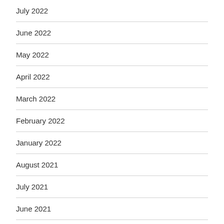July 2022
June 2022
May 2022
April 2022
March 2022
February 2022
January 2022
August 2021
July 2021
June 2021
May 2021